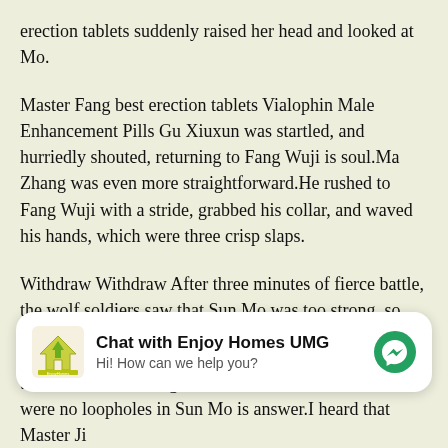erection tablets suddenly raised her head and looked at Mo.
Master Fang best erection tablets Vialophin Male Enhancement Pills Gu Xiuxun was startled, and hurriedly shouted, returning to Fang Wuji is soul.Ma Zhang was even more straightforward.He rushed to Fang Wuji with a stride, grabbed his collar, and waved his hands, which were three crisp slaps.
Withdraw Withdraw After three minutes of fierce battle, the wolf soldiers saw that Sun Mo was too strong, so they decided to retreat, reorganize the offensive, and wait for reinforcements by the way.
[Figure (other): Chat widget for Enjoy Homes UMG with logo, title 'Chat with Enjoy Homes UMG', subtitle 'Hi! How can we help you?', and a messenger icon button]
tablets better.This is good news for the students.There were no loopholes in Sun Mo is answer.I heard that Master Ji